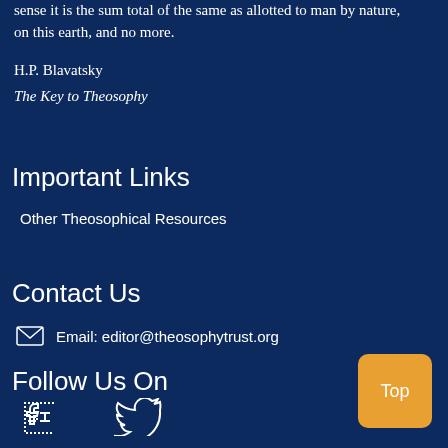sense it is the sum total of the same as allotted to man by nature, on this earth, and no more.
H.P. Blavatsky
The Key to Theosophy
Important Links
Other Theosophical Resources
Contact Us
Email: editor@theosophytrust.org
Follow Us On
[Figure (illustration): Facebook and Twitter social media icons]
[Figure (other): Top button - orange rounded square with text 'Top']